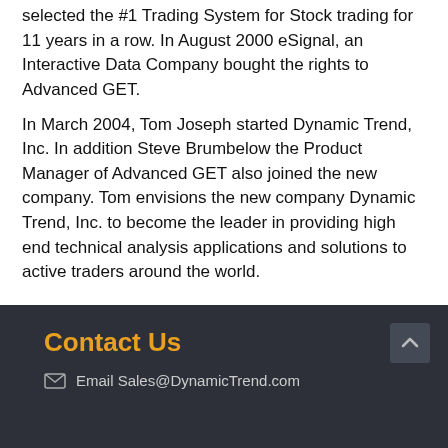selected the #1 Trading System for Stock trading for 11 years in a row. In August 2000 eSignal, an Interactive Data Company bought the rights to Advanced GET.
In March 2004, Tom Joseph started Dynamic Trend, Inc. In addition Steve Brumbelow the Product Manager of Advanced GET also joined the new company. Tom envisions the new company Dynamic Trend, Inc. to become the leader in providing high end technical analysis applications and solutions to active traders around the world.
Contact Us
Email Sales@DynamicTrend.com